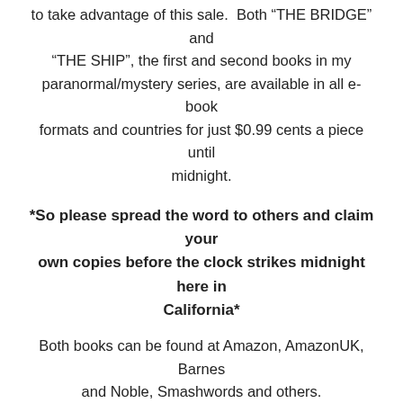to take advantage of this sale.  Both “THE BRIDGE” and “THE SHIP”, the first and second books in my paranormal/mystery series, are available in all e-book formats and countries for just $0.99 cents a piece until midnight.
*So please spread the word to others and claim your own copies before the clock strikes midnight here in California*
Both books can be found at Amazon, AmazonUK, Barnes and Noble, Smashwords and others.
Here are the links:
Amazon: amazon.com/author/allankrummenacker
AmazonUK: http://www.amazon.co.uk/Allan-